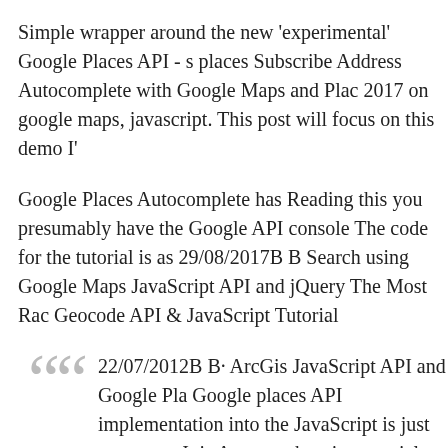Simple wrapper around the new 'experimental' Google Places API - s places Subscribe Address Autocomplete with Google Maps and Plac 2017 on google maps, javascript. This post will focus on this demo I'
Google Places Autocomplete has Reading this you presumably have the Google API console The code for the tutorial is as 29/08/2017B B Search using Google Maps JavaScript API and jQuery The Most Rac Geocode API & JavaScript Tutorial
22/07/2012B B· ArcGis JavaScript API and Google Pla Google places API implementation into the JavaScript is just awesome..It is A comprehensive tutorial on how Angular 5 and Cordova Geofence App using Native Co Plugin and Google Places API
Javascript Call to Google Places API Fails cmsdk.com. Subscribe Ad Google Maps and Places JavaScript API 11 January 2017 on google will focus on this demo I've created, Google Places API Tutorial In th